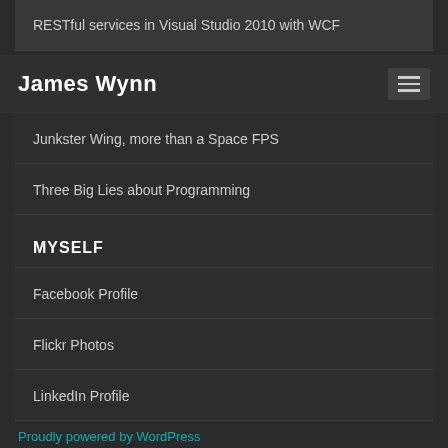RESTful services in Visual Studio 2010 with WCF
James Wynn
Junkster Wing, more than a Space FPS
Three Big Lies about Programming
MYSELF
Facebook Profile
Flickr Photos
LinkedIn Profile
Proudly powered by WordPress